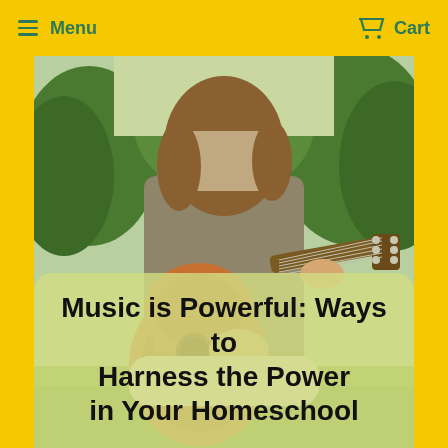Menu   Cart
[Figure (photo): A young person sitting outdoors playing an acoustic guitar, with green trees and grass in the background. The person is wearing a beige/olive t-shirt. Close-up view showing the guitar body and hands.]
Music is Powerful: Ways to Harness the Power in Your Homeschool